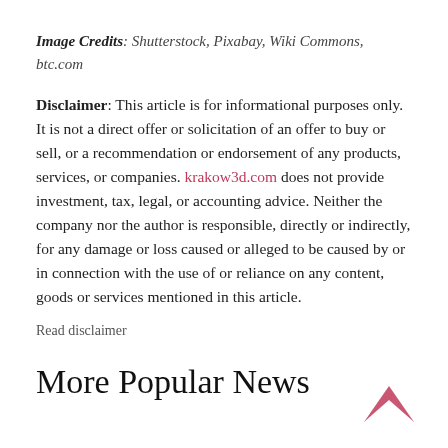Image Credits: Shutterstock, Pixabay, Wiki Commons, btc.com
Disclaimer: This article is for informational purposes only. It is not a direct offer or solicitation of an offer to buy or sell, or a recommendation or endorsement of any products, services, or companies. krakow3d.com does not provide investment, tax, legal, or accounting advice. Neither the company nor the author is responsible, directly or indirectly, for any damage or loss caused or alleged to be caused by or in connection with the use of or reliance on any content, goods or services mentioned in this article.
Read disclaimer
More Popular News